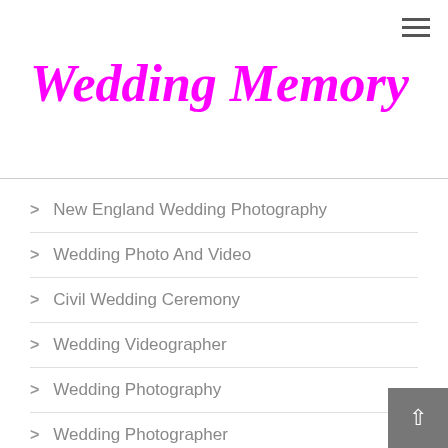Wedding Memory
New England Wedding Photography
Wedding Photo And Video
Civil Wedding Ceremony
Wedding Videographer
Wedding Photography
Wedding Photographer
Wedding Venues
Wedding Photography Services